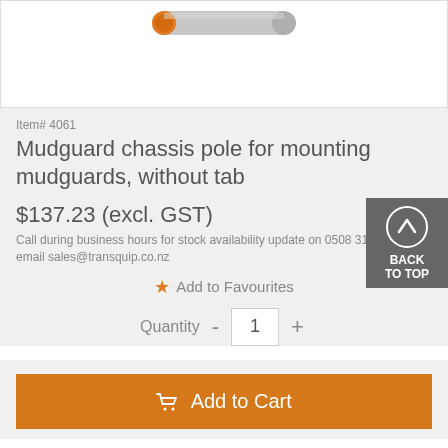[Figure (photo): Product photo of a mudguard chassis pole — a cylindrical grey/silver tube with orange end cap, shown diagonally on white background]
Item# 4061
Mudguard chassis pole for mounting mudguards, without tab
$137.23 (excl. GST)
Call during business hours for stock availability update on 0508 31 31 31 or email sales@transquip.co.nz
★ Add to Favourites
Quantity  -  1  +
Add to Cart